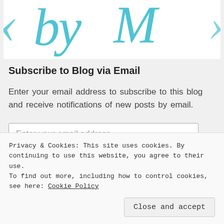[Figure (illustration): Partial cursive/script logo text in teal/cyan color on white background, showing parts of stylized letters]
Subscribe to Blog via Email
Enter your email address to subscribe to this blog and receive notifications of new posts by email.
Enter your email address
Subscribe
Privacy & Cookies: This site uses cookies. By continuing to use this website, you agree to their use.
To find out more, including how to control cookies, see here: Cookie Policy
Close and accept